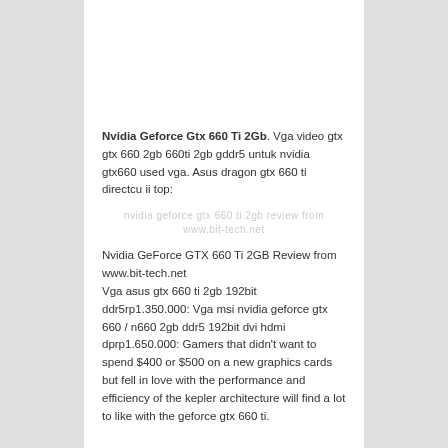Nvidia Geforce Gtx 660 Ti 2Gb. Vga video gtx gtx 660 2gb 660ti 2gb gddr5 untuk nvidia gtx660 used vga. Asus dragon gtx 660 ti directcu ii top:
Nvidia GeForce GTX 660 Ti 2GB Review from www.bit-tech.net
Vga asus gtx 660 ti 2gb 192bit ddr5rp1.350.000: Vga msi nvidia geforce gtx 660 / n660 2gb ddr5 192bit dvi hdmi dprp1.650.000: Gamers that didn't want to spend $400 or $500 on a new graphics cards but fell in love with the performance and efficiency of the kepler architecture will find a lot to like with the geforce gtx 660 ti.